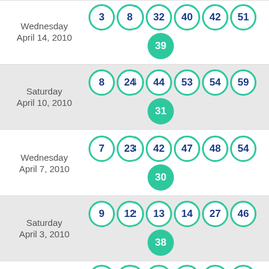Wednesday April 14, 2010 — 3, 8, 32, 40, 42, 51 + 39
Saturday April 10, 2010 — 8, 24, 44, 53, 54, 59 + 31
Wednesday April 7, 2010 — 7, 23, 42, 47, 48, 54 + 30
Saturday April 3, 2010 — 9, 12, 13, 14, 27, 46 + 38
Wednesday [partial] — 11, 16, 20, 23, 25, 36